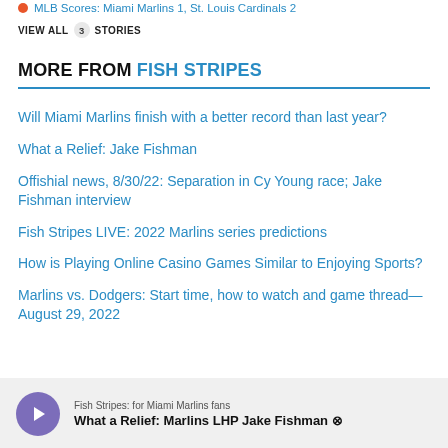MLB Scores: Miami Marlins 1, St. Louis Cardinals 2
VIEW ALL 3 STORIES
MORE FROM FISH STRIPES
Will Miami Marlins finish with a better record than last year?
What a Relief: Jake Fishman
Offishial news, 8/30/22: Separation in Cy Young race; Jake Fishman interview
Fish Stripes LIVE: 2022 Marlins series predictions
How is Playing Online Casino Games Similar to Enjoying Sports?
Marlins vs. Dodgers: Start time, how to watch and game thread—August 29, 2022
Fish Stripes: for Miami Marlins fans
What a Relief: Marlins LHP Jake Fishman ⊠